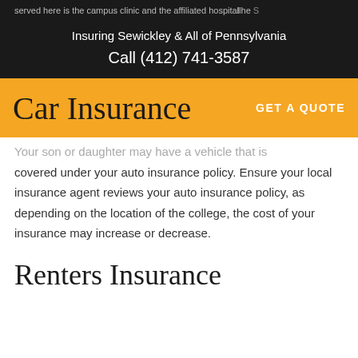Insuring Sewickley & All of Pennsylvania
Call (412) 741-3587
Car Insurance
GET A QUOTE
Your son or daughter may have a vehicle that is covered under your auto insurance policy. Ensure your local insurance agent reviews your auto insurance policy, as depending on the location of the college, the cost of your insurance may increase or decrease.
Renters Insurance